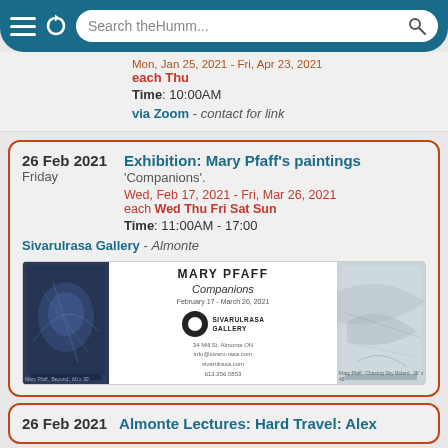Search theHumm...
Mon, Jan 25, 2021 - Fri, Apr 23, 2021
each Thu
Time: 10:00AM
via Zoom - contact for link
26 Feb 2021
Friday
Exhibition: Mary Pfaff's paintings
'Companions'.
Wed, Feb 17, 2021 - Fri, Mar 26, 2021
each Wed Thu Fri Sat Sun
Time: 11:00AM - 17:00
Sivarulrasa Gallery - Almonte
[Figure (photo): Mary Pfaff exhibition poster showing two paintings flanking exhibition text: MARY PFAFF, Companions, February 17 - March 26, 2021, Sivarulrasa Gallery logo, 34 Mill St, Almonte ON, info@sivaru-rasa.com, sivarulrasa.com, 613.256.0853]
26 Feb 2021
Almonte Lectures: Hard Travel: Alex